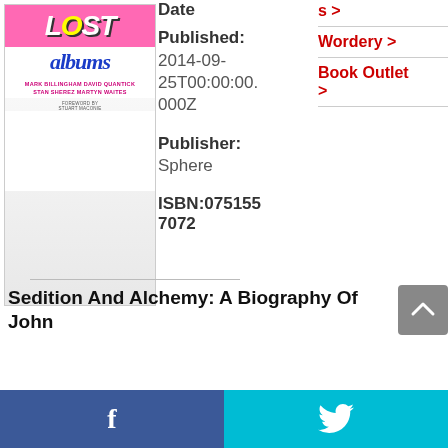[Figure (illustration): Book cover of 'Lost Albums' showing pink banner at top with 'LOST' in stylized text, blue 'albums' lettering, and author names below on white background.]
Date
Published: 2014-09-25T00:00:00.000Z
Publisher: Sphere
ISBN:0751557072
s >
Wordery >
Book Outlet >
Sedition And Alchemy: A Biography Of John
f  [twitter bird icon]